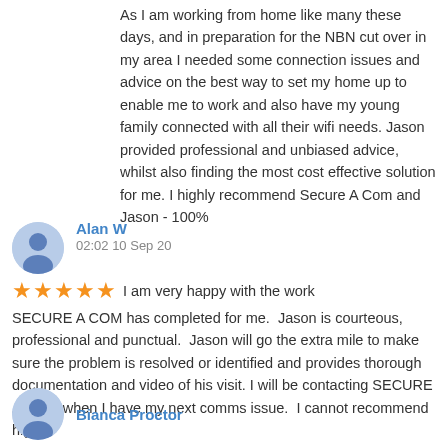As I am working from home like many these days, and in preparation for the NBN cut over in my area I needed some connection issues and advice on the best way to set my home up to enable me to work and also have my young family connected with all their wifi needs. Jason provided professional and unbiased advice, whilst also finding the most cost effective solution for me. I highly recommend Secure A Com and Jason - 100%
Alan W
02:02 10 Sep 20
I am very happy with the work SECURE A COM has completed for me.  Jason is courteous, professional and punctual.  Jason will go the extra mile to make sure the problem is resolved or identified and provides thorough documentation and video of his visit. I will be contacting SECURE A COM when I have my next comms issue.  I cannot recommend highly!
Bianca Proctor